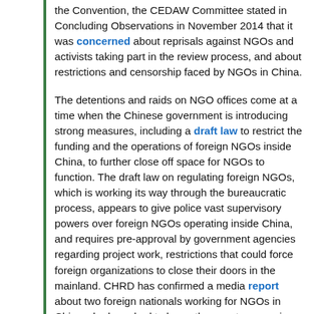the Convention, the CEDAW Committee stated in Concluding Observations in November 2014 that it was concerned about reprisals against NGOs and activists taking part in the review process, and about restrictions and censorship faced by NGOs in China.
The detentions and raids on NGO offices come at a time when the Chinese government is introducing strong measures, including a draft law to restrict the funding and the operations of foreign NGOs inside China, to further close off space for NGOs to function. The draft law on regulating foreign NGOs, which is working its way through the bureaucratic process, appears to give police vast supervisory powers over foreign NGOs operating inside China, and requires pre-approval by government agencies regarding project work, restrictions that could force foreign organizations to close their doors in the mainland. CHRD has confirmed a media report about two foreign nationals working for NGOs in China who have had to leave the country over visa issues, in just one recent sign of how foreign NGOs are confronting obstacles. One of them, who had volunteered with the Beijing Yirenping Center, was detained for 10 days before being forced to leave. The draft law also follows on regulations proposed by authorities in Guangzhou in October 2014, which sparked public protests